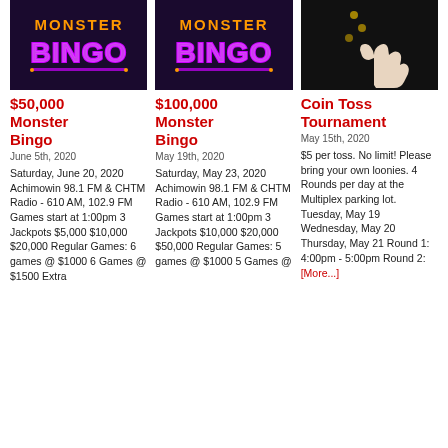[Figure (illustration): Monster Bingo neon logo on dark purple background]
$50,000 Monster Bingo
June 5th, 2020
Saturday, June 20, 2020 Achimowin 98.1 FM & CHTM Radio - 610 AM, 102.9 FM Games start at 1:00pm 3 Jackpots $5,000 $10,000 $20,000 Regular Games: 6 games @ $1000 6 Games @ $1500 Extra
[Figure (illustration): Monster Bingo neon logo on dark purple background]
$100,000 Monster Bingo
May 19th, 2020
Saturday, May 23, 2020 Achimowin 98.1 FM & CHTM Radio - 610 AM, 102.9 FM Games start at 1:00pm 3 Jackpots $10,000 $20,000 $50,000 Regular Games: 5 games @ $1000 5 Games @
[Figure (photo): Person giving thumbs up on black background]
Coin Toss Tournament
May 15th, 2020
$5 per toss. No limit! Please bring your own loonies. 4 Rounds per day at the Multiplex parking lot. Tuesday, May 19 Wednesday, May 20 Thursday, May 21 Round 1: 4:00pm - 5:00pm Round 2: [More...]